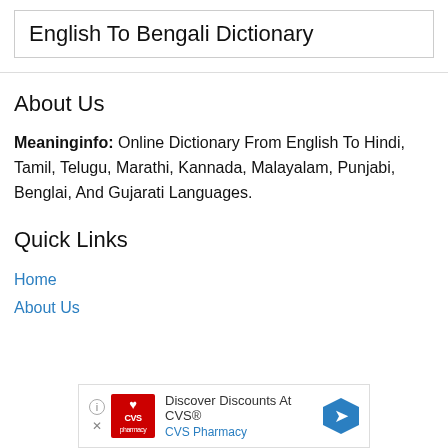English To Bengali Dictionary
About Us
Meaninginfo: Online Dictionary From English To Hindi, Tamil, Telugu, Marathi, Kannada, Malayalam, Punjabi, Benglai, And Gujarati Languages.
Quick Links
Home
About Us
[Figure (other): CVS Pharmacy advertisement banner: 'Discover Discounts At CVS® / CVS Pharmacy' with CVS logo and directional arrow icon]